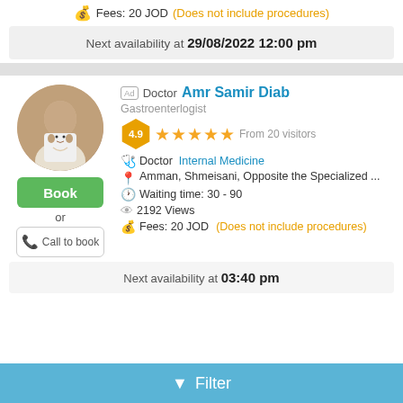Fees: 20 JOD (Does not include procedures)
Next availability at 29/08/2022 12:00 pm
Ad Doctor Amr Samir Diab
Gastroenterlogist
4.9 ★★★★★ From 20 visitors
Book
or
Call to book
Doctor Internal Medicine
Amman, Shmeisani, Opposite the Specialized ...
Waiting time: 30 - 90
2192 Views
Fees: 20 JOD (Does not include procedures)
Next availability at 03:40 pm
Filter